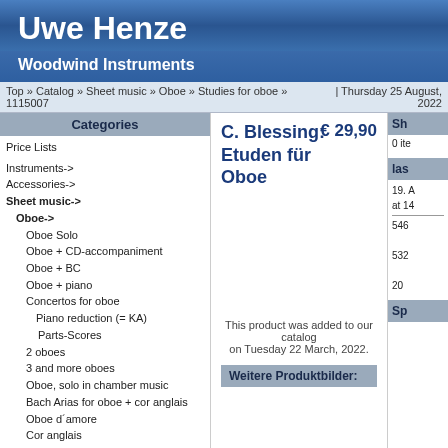Uwe Henze
Woodwind Instruments
Top » Catalog » Sheet music » Oboe » Studies for oboe » 1115007 | Thursday 25 August, 2022
Categories
Price Lists
Instruments->
Accessories->
Sheet music->
Oboe->
Oboe Solo
Oboe + CD-accompaniment
Oboe + BC
Oboe + piano
Concertos for oboe
Piano reduction (= KA)
Parts-Scores
2 oboes
3 and more oboes
Oboe, solo in chamber music
Bach Arias for oboe + cor anglais
Oboe d´amore
Cor anglais
Theaching methods for oboe
Studies for oboe
Orchestral studies for oboe
Bassoon->
Concerts for several instruments
Chamber Music->
Scores
Technical books
alle Produkte anzeigen
C. Blessing: Etuden für Oboe   € 29,90
This product was added to our catalog on Tuesday 22 March, 2022.
Weitere Produktbilder:
Sh
0 ite
las
19. A
at 14
546
532
20
Sp